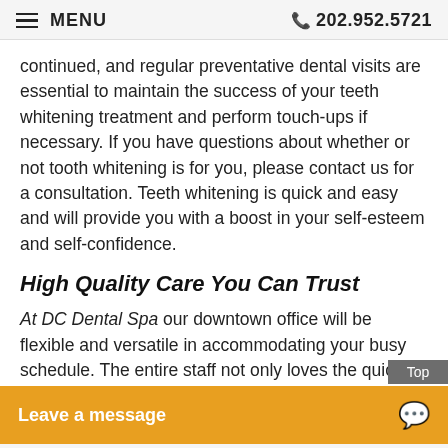MENU  202.952.5721
continued, and regular preventative dental visits are essential to maintain the success of your teeth whitening treatment and perform touch-ups if necessary. If you have questions about whether or not tooth whitening is for you, please contact us for a consultation. Teeth whitening is quick and easy and will provide you with a boost in your self-esteem and self-confidence.
High Quality Care You Can Trust
At DC Dental Spa our downtown office will be flexible and versatile in accommodating your busy schedule. The entire staff not only loves the quick results and satisfaction from a teeth whitening treatment but also t…